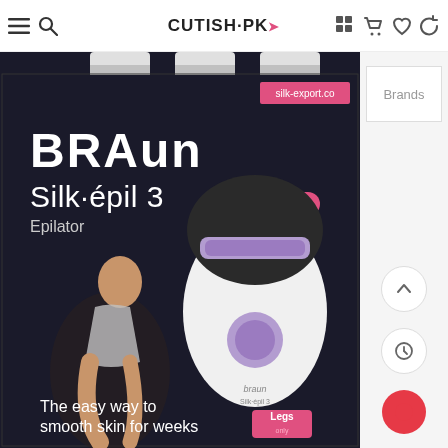CUTISH·PK
[Figure (photo): Braun Silk-épil 3 Epilator product box on a white/light background. The box is black with the Braun logo in white, 'Silk·épil 3 Epilator' text, a woman sitting pose, the epilator device (white and purple), 'New' badge in pink, 'The easy way to smooth skin for weeks' tagline, and a 'Legs' category badge in pink.]
Brands